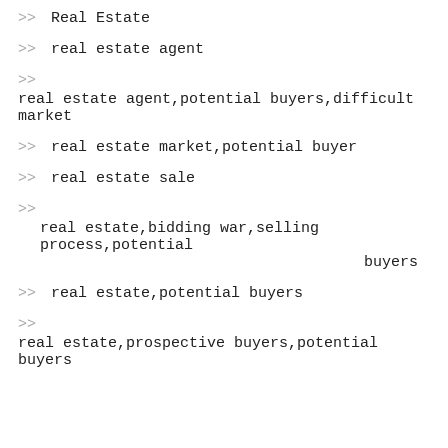>> Real Estate
>> real estate agent
>>
real estate agent,potential buyers,difficult market
>> real estate market,potential buyer
>> real estate sale
>>
    real estate,bidding war,selling process,potential buyers
>> real estate,potential buyers
>>
real estate,prospective buyers,potential buyers